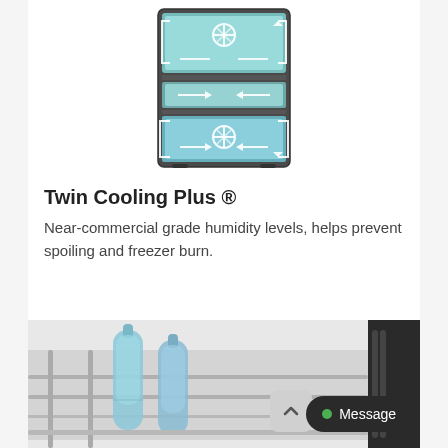[Figure (illustration): Diagram of a Samsung refrigerator showing Twin Cooling Plus system with airflow arrows and snowflake icons on a teal/blue background inside the fridge compartments.]
Twin Cooling Plus ®
Near-commercial grade humidity levels, helps prevent spoiling and freezer burn.
[Figure (photo): Photo showing the interior of a refrigerator with glass bottles stored on a rack/shelf, close-up view with metallic shelf rails visible.]